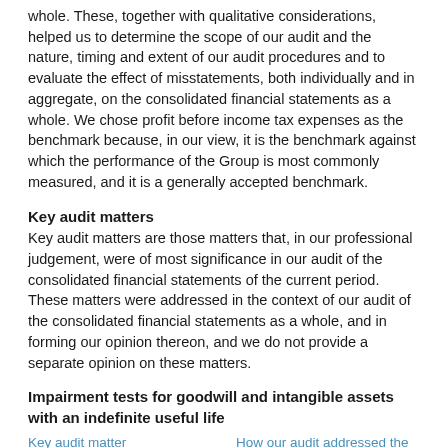whole. These, together with qualitative considerations, helped us to determine the scope of our audit and the nature, timing and extent of our audit procedures and to evaluate the effect of misstatements, both individually and in aggregate, on the consolidated financial statements as a whole. We chose profit before income tax expenses as the benchmark because, in our view, it is the benchmark against which the performance of the Group is most commonly measured, and it is a generally accepted benchmark.
Key audit matters
Key audit matters are those matters that, in our professional judgement, were of most significance in our audit of the consolidated financial statements of the current period. These matters were addressed in the context of our audit of the consolidated financial statements as a whole, and in forming our opinion thereon, and we do not provide a separate opinion on these matters.
Impairment tests for goodwill and intangible assets with an indefinite useful life
| Key audit matter | How our audit addressed the key audit matter |
| --- | --- |
| Impairment testing of goodwill and intangible assets with an | Impairment testing of goodwill and intangible assets with an |